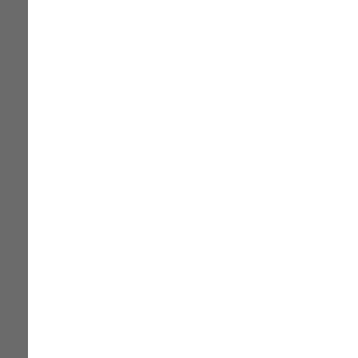Html Encrypt Password Pr | Mobile | Password | Password Encryption | Password Protect | Password Protect Files | Password Protect Folder | Password Protect Interne | Protect | Protect Password Easily | Strong | Strong Encryption | Strong Password | Usb
[Figure (illustration): Gold padlock icon emoji]
Advanced HTML Encrypt and Password Protect - Advanced HTML